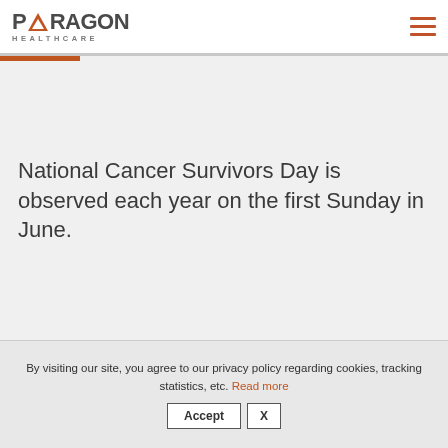PARAGON HEALTHCARE
National Cancer Survivors Day is observed each year on the first Sunday in June.
By visiting our site, you agree to our privacy policy regarding cookies, tracking statistics, etc. Read more
Accept  X